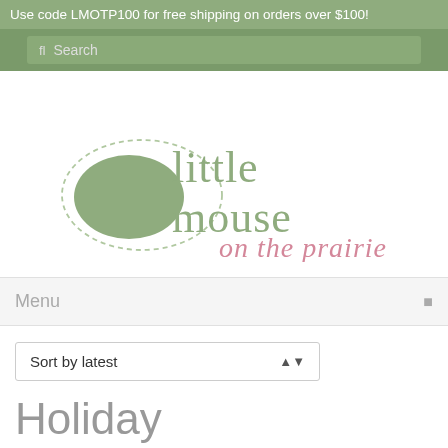Use code LMOTP100 for free shipping on orders over $100!
Search
[Figure (logo): Little Mouse on the Prairie logo with mouse silhouette and dashed oval, text in sage green and pink]
Menu
Sort by latest
Holiday
Showing all 15 results